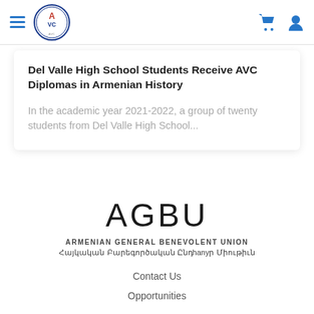AVC navigation bar with hamburger menu, AVC logo, cart icon, and user icon
Del Valle High School Students Receive AVC Diplomas in Armenian History
In the academic year 2021-2022, a group of twenty students from Del Valle High School...
[Figure (logo): AGBU wordmark logo in large sans-serif letters]
ARMENIAN GENERAL BENEVOLENT UNION
Հայկական Բարեգործական Ընդханուր Միութիւն
Contact Us
Opportunities